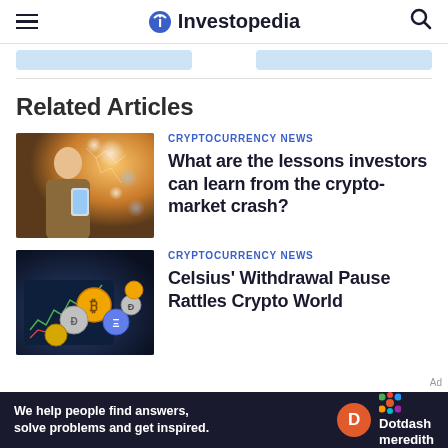Investopedia
Related Articles
[Figure (photo): Young woman looking at a glowing smartphone at night with bokeh lights in background]
CRYPTOCURRENCY NEWS
What are the lessons investors can learn from the crypto-market crash?
[Figure (photo): Pile of gold and silver cryptocurrency coins including Bitcoin and Ethereum on a dark surface with a phone showing charts]
CRYPTOCURRENCY NEWS
Celsius' Withdrawal Pause Rattles Crypto World
We help people find answers, solve problems and get inspired. Dotdash meredith